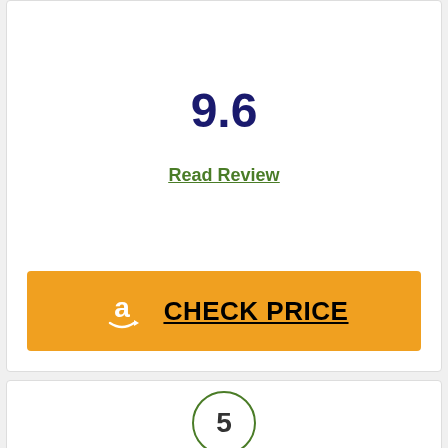9.6
Read Review
CHECK PRICE
5
[Figure (photo): Partial view of a tennis racket handle and frame in red and gray]